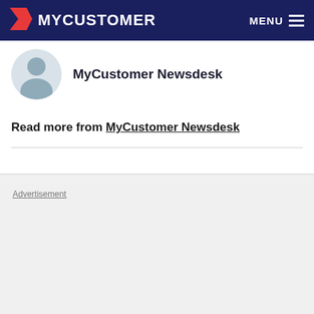MYCUSTOMER  MENU
[Figure (illustration): Circular avatar placeholder with grey silhouette of a person on a light blue-grey background]
MyCustomer Newsdesk
Read more from MyCustomer Newsdesk
Advertisement